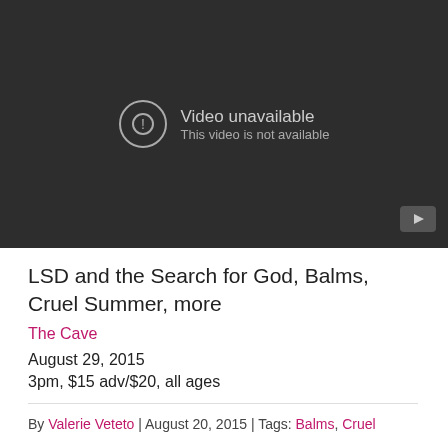[Figure (screenshot): Embedded YouTube video player showing 'Video unavailable - This video is not available' error message on dark background with YouTube logo in bottom-right corner.]
LSD and the Search for God, Balms, Cruel Summer, more
The Cave
August 29, 2015
3pm, $15 adv/$20, all ages
By Valerie Veteto | August 20, 2015 | Tags: Balms, Cruel